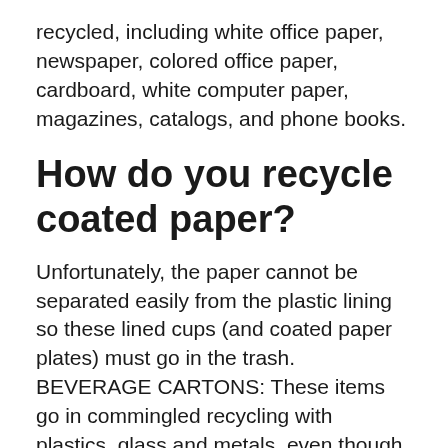recycled, including white office paper, newspaper, colored office paper, cardboard, white computer paper, magazines, catalogs, and phone books.
How do you recycle coated paper?
Unfortunately, the paper cannot be separated easily from the plastic lining so these lined cups (and coated paper plates) must go in the trash. BEVERAGE CARTONS: These items go in commingled recycling with plastics, glass and metals, even though they look like paper.
How do you properly